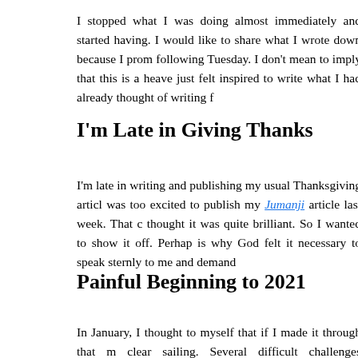I stopped what I was doing almost immediately and started having. I would like to share what I wrote down because I prom following Tuesday. I don't mean to imply that this is a heave just felt inspired to write what I had already thought of writing f
I'm Late in Giving Thanks
I'm late in writing and publishing my usual Thanksgiving articl was too excited to publish my Jumanji article last week. That c thought it was quite brilliant. So I wanted to show it off. Perhap is why God felt it necessary to speak sternly to me and demand
Painful Beginning to 2021
In January, I thought to myself that if I made it through that m clear sailing. Several difficult challenges presented themselves i